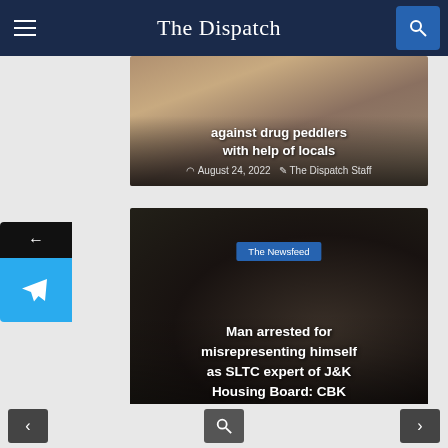The Dispatch
[Figure (photo): Partial news card with military officer, headline partially visible: 'against drug peddlers with help of locals', dated August 24 2022, by The Dispatch Staff]
[Figure (photo): News card with person in handcuffs, tagged 'The Newsfeed'. Headline: 'Man arrested for misrepresenting himself as SLTC expert of J&K Housing Board: CBK', dated August 24 2022, by The Dispatch Staff]